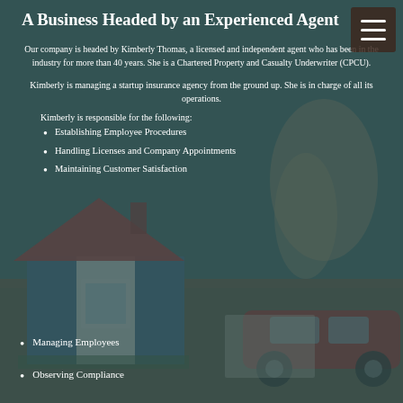A Business Headed by an Experienced Agent
Our company is headed by Kimberly Thomas, a licensed and independent agent who has been in the industry for more than 40 years. She is a Chartered Property and Casualty Underwriter (CPCU).
Kimberly is managing a startup insurance agency from the ground up. She is in charge of all its operations.
Kimberly is responsible for the following:
Establishing Employee Procedures
Handling Licenses and Company Appointments
Maintaining Customer Satisfaction
Managing Employees
Observing Compliance
[Figure (photo): Background photo of a toy model house and a red toy car on a table, with a person's hand in the background, overlaid with a semi-transparent teal/dark green color wash.]